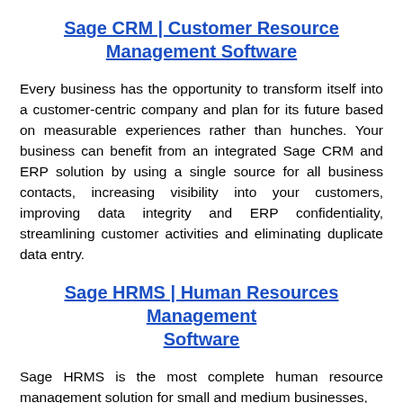Sage CRM | Customer Resource Management Software
Every business has the opportunity to transform itself into a customer-centric company and plan for its future based on measurable experiences rather than hunches. Your business can benefit from an integrated Sage CRM and ERP solution by using a single source for all business contacts, increasing visibility into your customers, improving data integrity and ERP confidentiality, streamlining customer activities and eliminating duplicate data entry.
Sage HRMS | Human Resources Management Software
Sage HRMS is the most complete human resource management solution for small and medium businesses,